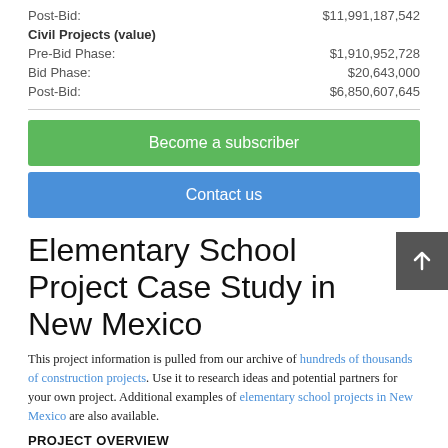Post-Bid: $11,991,187,542
Civil Projects (value)
Pre-Bid Phase: $1,910,952,728
Bid Phase: $20,643,000
Post-Bid: $6,850,607,645
Become a subscriber
Contact us
Elementary School Project Case Study in New Mexico
This project information is pulled from our archive of hundreds of thousands of construction projects. Use it to research ideas and potential partners for your own project. Additional examples of elementary school projects in New Mexico are also available.
PROJECT OVERVIEW
Project Title: ALAMOSA KINDERGARTEN